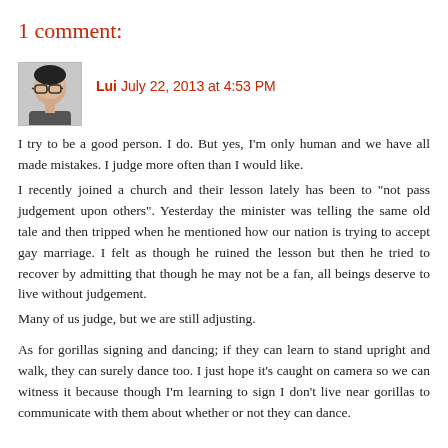1 comment:
[Figure (photo): Small avatar photo of a person wearing glasses]
Lui  July 22, 2013 at 4:53 PM
I try to be a good person. I do. But yes, I'm only human and we have all made mistakes. I judge more often than I would like.
I recently joined a church and their lesson lately has been to "not pass judgement upon others". Yesterday the minister was telling the same old tale and then tripped when he mentioned how our nation is trying to accept gay marriage. I felt as though he ruined the lesson but then he tried to recover by admitting that though he may not be a fan, all beings deserve to live without judgement.
Many of us judge, but we are still adjusting.

As for gorillas signing and dancing; if they can learn to stand upright and walk, they can surely dance too. I just hope it's caught on camera so we can witness it because though I'm learning to sign I don't live near gorillas to communicate with them about whether or not they can dance.